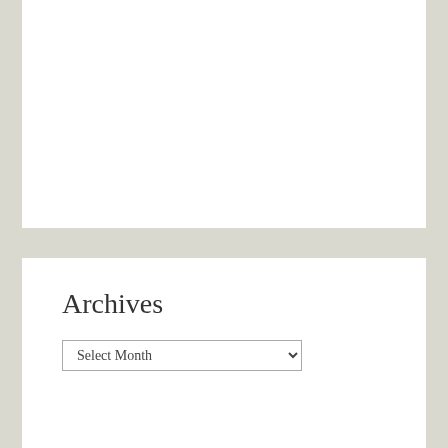[Figure (other): White content card at top, partially visible, blank white area]
Archives
Select Month (dropdown selector)
[Figure (other): Upward-pointing chevron/caret arrow icon in steel blue color]
Follow Timeless Italy Travels